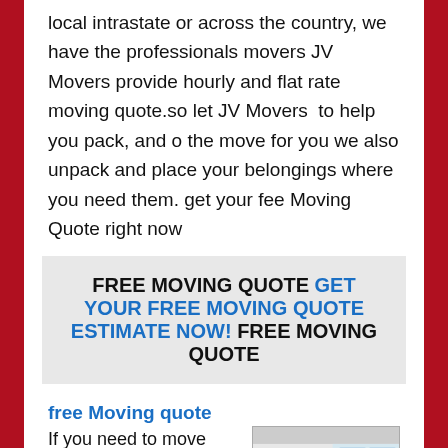local intrastate or across the country, we have the professionals movers JV Movers provide hourly and flat rate moving quote.so let JV Movers  to help you pack, and o the move for you we also unpack and place your belongings where you need them. get your fee Moving Quote right now
FREE MOVING QUOTE GET YOUR FREE MOVING QUOTE ESTIMATE NOW! FREE MOVING QUOTE
free Moving quote
If you need to move locally, count on our local free moving quote full moving services our team have the skill to
[Figure (photo): A man and a woman packing boxes together in a bright room]